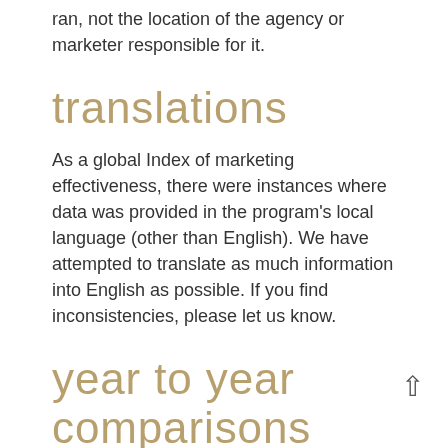ran, not the location of the agency or marketer responsible for it.
translations
As a global Index of marketing effectiveness, there were instances where data was provided in the program's local language (other than English). We have attempted to translate as much information into English as possible. If you find inconsistencies, please let us know.
year to year comparisons
Effie Index rankings are a result of Effie Award Winner/finalist point aggregation over a single year.